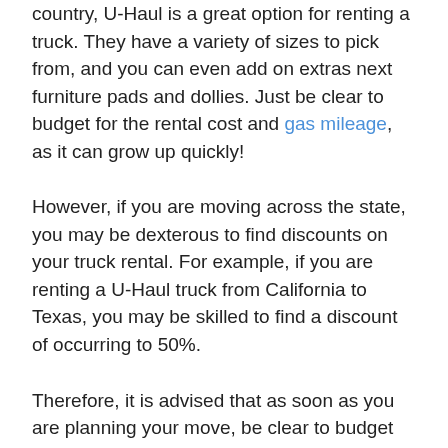country, U-Haul is a great option for renting a truck. They have a variety of sizes to pick from, and you can even add on extras next furniture pads and dollies. Just be clear to budget for the rental cost and gas mileage, as it can grow up quickly!
However, if you are moving across the state, you may be dexterous to find discounts on your truck rental. For example, if you are renting a U-Haul truck from California to Texas, you may be skilled to find a discount of occurring to 50%.
Therefore, it is advised that as soon as you are planning your move, be clear to budget for the cost of renting a U-Haul truck. The cost of your change will after that depend on the size of your home, the separate from you are moving, and more. If you are moving across the country, you may need to